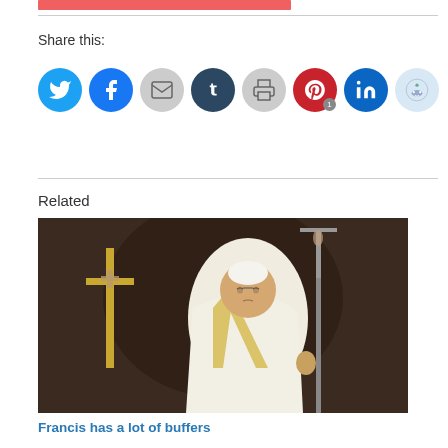Share this:
[Figure (other): Social sharing icons: Twitter, Facebook, Email, Tumblr, Print, Pinterest (with badge 1), LinkedIn, Reddit]
Related
[Figure (photo): Pope Francis in white vestments holding a papal staff, with a golden crucifix behind him in a cathedral setting]
Francis has a lot of buffers